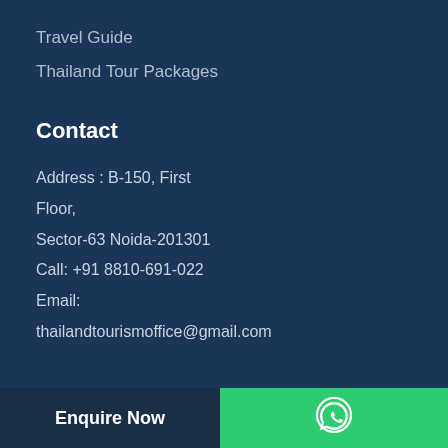Travel Guide
Thailand Tour Packages
Contact
Address : B-150, First Floor,
Sector-63 Noida-201301
Call: +91 8810-691-022
Email:
thailandtourismoffice@gmail.com
Enquire Now
[Figure (logo): WhatsApp icon in white on green background]